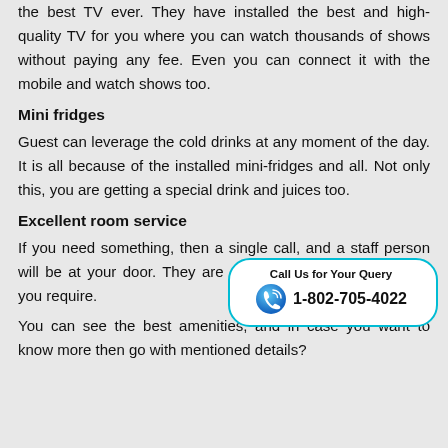the best TV ever. They have installed the best and high-quality TV for you where you can watch thousands of shows without paying any fee. Even you can connect it with the mobile and watch shows too.
Mini fridges
Guest can leverage the cold drinks at any moment of the day. It is all because of the installed mini-fridges and all. Not only this, you are getting a special drink and juices too.
Excellent room service
[Figure (infographic): Call Us for Your Query badge with phone icon and number 1-802-705-4022]
If you need something, then a single call, and a staff person will be at your door. They are providing you with everything you require.
You can see the best amenities, and in case you want to know more then go with mentioned details?